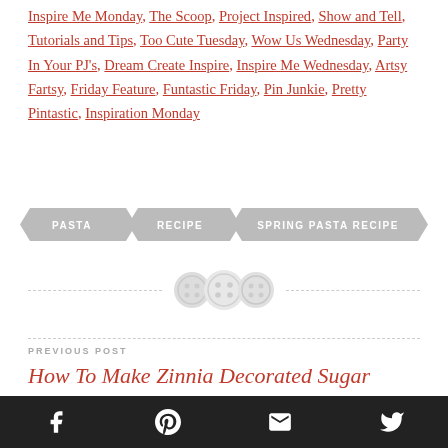Inspire Me Monday, The Scoop, Project Inspired, Show and Tell, Tutorials and Tips, Too Cute Tuesday, Wow Us Wednesday, Party In Your PJ's, Dream Create Inspire, Inspire Me Wednesday, Artsy Fartsy, Friday Feature, Funtastic Friday, Pin Junkie, Pretty Pintastic, Inspiration Monday
PASTA | RECIPE | SPRING PASTA RECIPE
[Figure (illustration): Three decorative button icons on a dashed horizontal divider line]
PREVIOUS POST
How To Make Zinnia Decorated Sugar
[Figure (infographic): Bottom social share bar with Facebook, Pinterest, Email, and Twitter icons on dark background]